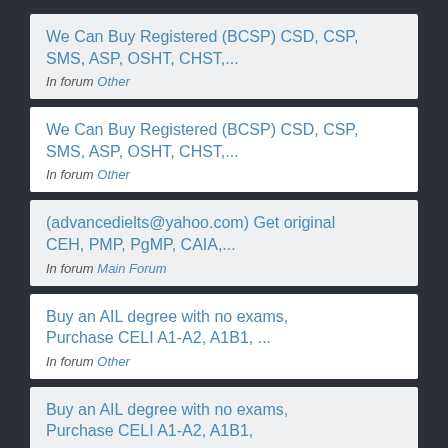We Can Buy Registered (BCSP) CSD, CSP, SMS, ASP, OSHT, CHST,...
In forum Other
We Can Buy Registered (BCSP) CSD, CSP, SMS, ASP, OSHT, CHST,...
In forum Other
(advancedielts@yahoo.com) Get original CEH, PMP, PgMP, CAIA,...
In forum Main Forum
Buy an AIL degree with no exams, Purchase CELI A1-A2, A1B1, ...
In forum Other
Buy an AIL degree with no exams, Purchase CELI A1-A2, A1B1,...